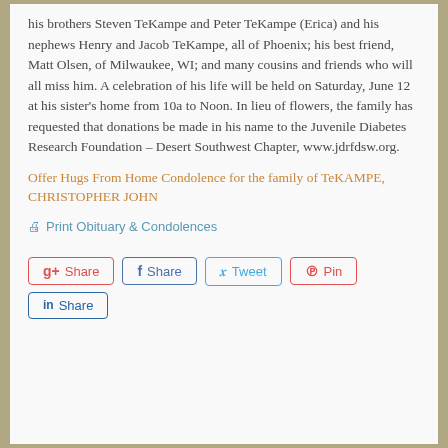his brothers Steven TeKampe and Peter TeKampe (Erica) and his nephews Henry and Jacob TeKampe, all of Phoenix; his best friend, Matt Olsen, of Milwaukee, WI; and many cousins and friends who will all miss him. A celebration of his life will be held on Saturday, June 12 at his sister's home from 10a to Noon. In lieu of flowers, the family has requested that donations be made in his name to the Juvenile Diabetes Research Foundation – Desert Southwest Chapter, www.jdrfdsw.org.
Offer Hugs From Home Condolence for the family of TeKAMPE, CHRISTOPHER JOHN
Print Obituary & Condolences
Share | Share | Tweet | Pin | Share